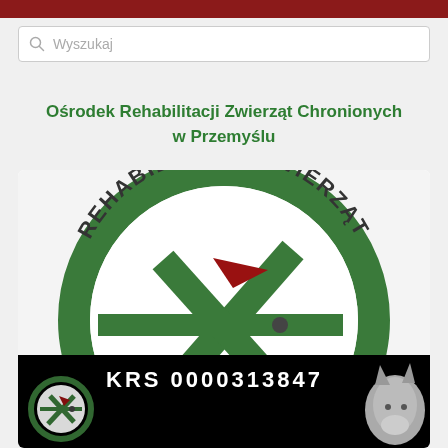Wyszukaj
Ośrodek Rehabilitacji Zwierząt Chronionych w Przemyślu
[Figure (logo): Circular logo of Ośrodek Rehabilitacji Zwierząt Chronionych with green circle border and stylized bird/animal graphic inside. Text around the circle reads REHABILITACJI ZWIERZĄT CHR... Below the logo is a black banner with text KRS 0000313847 and a small fox image and a small version of the logo.]